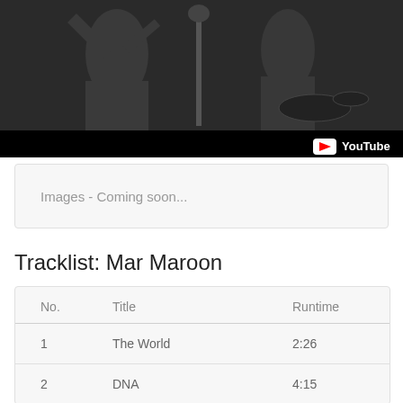[Figure (screenshot): A black-and-white video screenshot of a band performing on stage, with YouTube logo overlay in bottom right corner]
Images - Coming soon...
Tracklist: Mar Maroon
| No. | Title | Runtime |
| --- | --- | --- |
| 1 | The World | 2:26 |
| 2 | DNA | 4:15 |